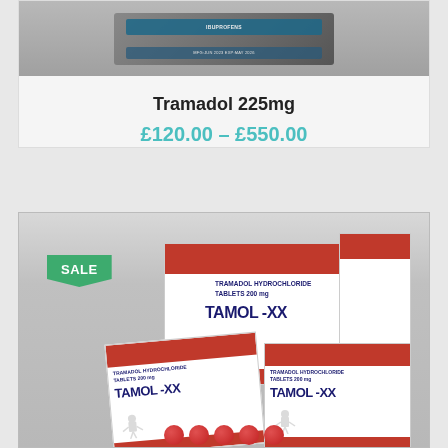[Figure (photo): Partial product image at top of page — appears to be a blister pack or medication packaging, cropped]
Tramadol 225mg
£120.00 – £550.00
[Figure (photo): Photo of multiple TAMOL-XX (Tramadol Hydrochloride Tablets 200mg) product boxes stacked together with a SALE badge, along with blister packs and red pills visible]